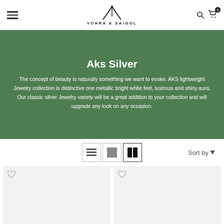VOHRA & SAIGOL
Aks Silver
The concept of beauty is naturally something we want to evoke. AKS lightweight Jewelry collection is distinctive one metallic bright white feel, lustrous and shiny aura. Our classic silver Jewelry variety will be a great addition to your collection and will upgrade any look on any occasion.
[Figure (screenshot): View toggle buttons (list, grid-1, grid-2) and Sort by dropdown toolbar]
[Figure (screenshot): Two product cards at the bottom of the page, partially visible, with light gray background and wishlist heart icons]